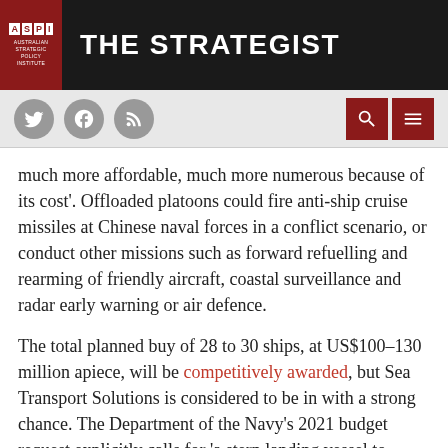ASPI THE STRATEGIST
[Figure (screenshot): Navigation bar with social media icons (Twitter, Facebook, RSS) on the left and search/menu icons on the right]
much more affordable, much more numerous because of its cost'. Offloaded platoons could fire anti-ship cruise missiles at Chinese naval forces in a conflict scenario, or conduct other missions such as forward refuelling and rearming of friendly aircraft, coastal surveillance and radar early warning or air defence.
The total planned buy of 28 to 30 ships, at US$100–130 million apiece, will be competitively awarded, but Sea Transport Solutions is considered to be in with a strong chance. The Department of the Navy's 2021 budget request explicitly calls for 'a stern landing vessel to support amphibious ship-to-shore operations', according to naval reporter Megan Eckstein, and the US Congressional Research Service indicates that the marines want the program expedited to ensure the vessels are